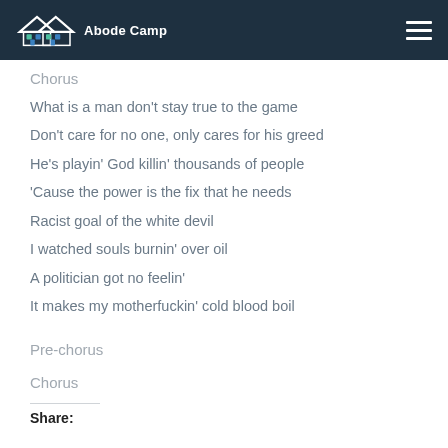Abode Camp
Chorus
What is a man don't stay true to the game
Don't care for no one, only cares for his greed
He's playin' God killin' thousands of people
'Cause the power is the fix that he needs
Racist goal of the white devil
I watched souls burnin' over oil
A politician got no feelin'
It makes my motherfuckin' cold blood boil
Pre-chorus
Chorus
Share: